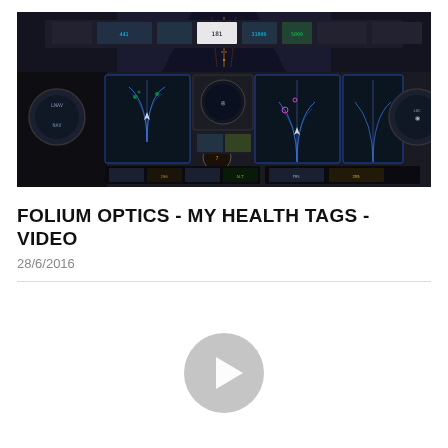[Figure (photo): Cockpit photograph of a commercial aircraft showing illuminated instrument panels, navigation displays with radar arcs, glowing gauges, and a runway visible through the windshield at night.]
FOLIUM OPTICS - MY HEALTH TAGS - VIDEO
28/6/2016
[Figure (other): Gray circular play button icon indicating a video player.]